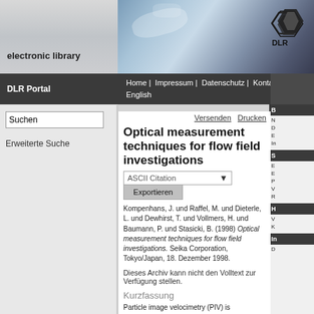[Figure (screenshot): DLR electronic library website header with blue gradient background and DLR logo (geometric diamond shape)]
electronic library
DLR Portal | Home | Impressum | Datenschutz | Kontakt | English
Suchen
Erweiterte Suche
Versenden   Drucken
Optical measurement techniques for flow field investigations
ASCII Citation  Exportieren
Kompenhans, J. und Raffel, M. und Dieterle, L. und Dewhirst, T. und Vollmers, H. und Baumann, P. und Stasicki, B. (1998) Optical measurement techniques for flow field investigations. Seika Corporation, Tokyo/Japan, 18. Dezember 1998.
Dieses Archiv kann nicht den Volltext zur Verfügung stellen.
Kurzfassung
Particle image velocimetry (PIV) is increasingly used for aerodynamic research and development. The PIV technique allows the recording of a